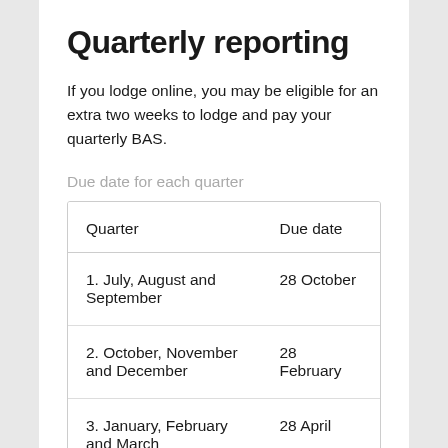Quarterly reporting
If you lodge online, you may be eligible for an extra two weeks to lodge and pay your quarterly BAS.
Due date for each quarter
| Quarter | Due date |
| --- | --- |
| 1. July, August and September | 28 October |
| 2. October, November and December | 28 February |
| 3. January, February and March | 28 April |